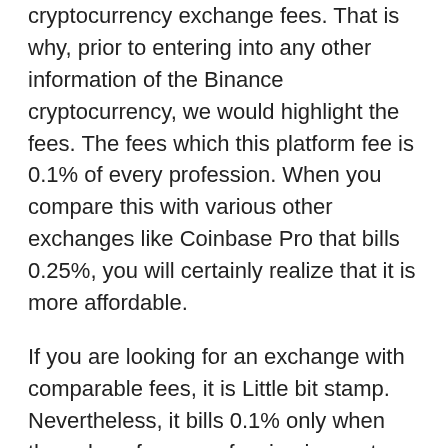cryptocurrency exchange fees. That is why, prior to entering into any other information of the Binance cryptocurrency, we would highlight the fees. The fees which this platform fee is 0.1% of every profession. When you compare this with various other exchanges like Coinbase Pro that bills 0.25%, you will certainly realize that it is more affordable.
If you are looking for an exchange with comparable fees, it is Little bit stamp. Nevertheless, it bills 0.1% only when the value of your profession is greater than 20 million. That is why, undoubtedly, you will not discover the exchange with costs like Binance.
The platform decreases your charges also better as you ramp up your trading volumes.